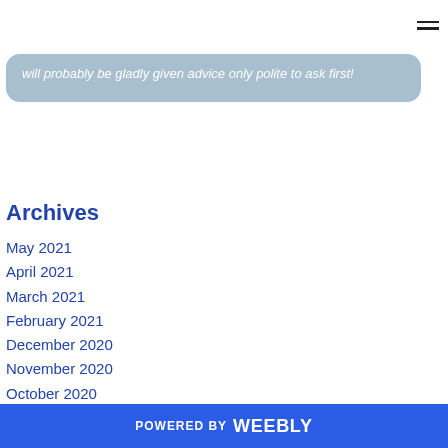will probably be gladly given advice only polite to ask first!
Archives
May 2021
April 2021
March 2021
February 2021
December 2020
November 2020
October 2020
August 2020
July 2020
June 2020
POWERED BY weebly